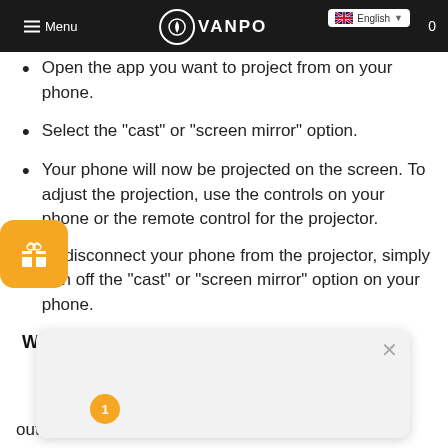Menu | VANPO | English | 0
Open the app you want to project from on your phone.
Select the “cast” or “screen mirror” option.
Your phone will now be projected on the screen. To adjust the projection, use the controls on your phone or the remote control for the projector.
To disconnect your phone from the projector, simply turn off the “cast” or “screen mirror” option on your phone.
What are the best projectors on the
out from the rest.